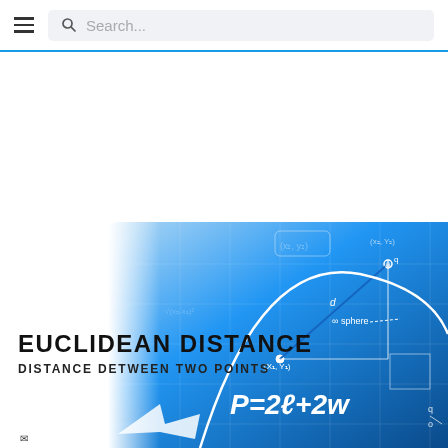Search...
[Figure (illustration): Blue gradient background with mathematical formulas, geometric diagrams, coordinate points (x1,y1), (x2,y2), a parabola curve, and the formula P=2l+2w. Depicts Euclidean distance concept with graph paper and equations overlaid.]
EUCLIDEAN DISTANCE
DISTANCE DETWEEN TWO POINTS